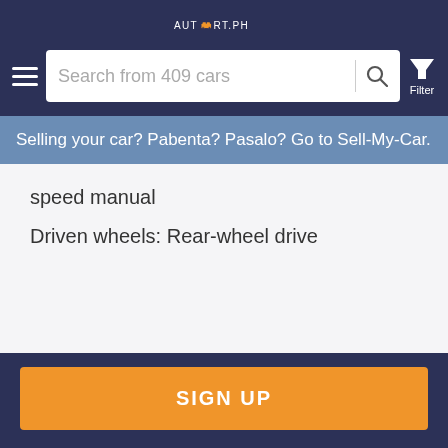AUTOMART.PH
Search from 409 cars
Selling your car? Pabenta? Pasalo? Go to Sell-My-Car.
speed manual
Driven wheels: Rear-wheel drive
SIGN UP